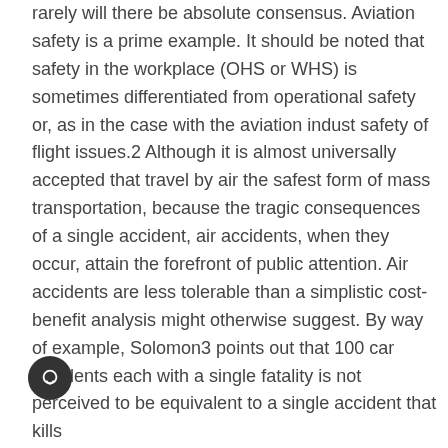rarely will there be absolute consensus. Aviation safety is a prime example. It should be noted that safety in the workplace (OHS or WHS) is sometimes differentiated from operational safety or, as in the case with the aviation indust safety of flight issues.2 Although it is almost universally accepted that travel by air the safest form of mass transportation, because the tragic consequences of a single accident, air accidents, when they occur, attain the forefront of public attention. Air accidents are less tolerable than a simplistic cost-benefit analysis might otherwise suggest. By way of example, Solomon3 points out that 100 car accidents each with a single fatality is not perceived to be equivalent to a single accident that kills